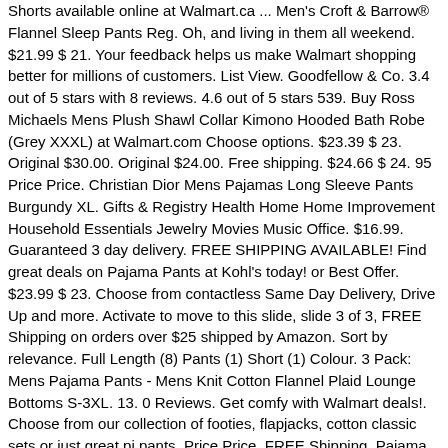Shorts available online at Walmart.ca ... Men's Croft & Barrow® Flannel Sleep Pants Reg. Oh, and living in them all weekend. $21.99 $ 21. Your feedback helps us make Walmart shopping better for millions of customers. List View. Goodfellow & Co. 3.4 out of 5 stars with 8 reviews. 4.6 out of 5 stars 539. Buy Ross Michaels Mens Plush Shawl Collar Kimono Hooded Bath Robe (Grey XXXL) at Walmart.com Choose options. $23.39 $ 23. Original $30.00. Original $24.00. Free shipping. $24.66 $ 24. 95 Price Price. Christian Dior Mens Pajamas Long Sleeve Pants Burgundy XL. Gifts & Registry Health Home Home Improvement Household Essentials Jewelry Movies Music Office. $16.99. Guaranteed 3 day delivery. FREE SHIPPING AVAILABLE! Find great deals on Pajama Pants at Kohl's today! or Best Offer. $23.99 $ 23. Choose from contactless Same Day Delivery, Drive Up and more. Activate to move to this slide, slide 3 of 3, FREE Shipping on orders over $25 shipped by Amazon. Sort by relevance. Full Length (8) Pants (1) Short (1) Colour. 3 Pack: Mens Pajama Pants - Mens Knit Cotton Flannel Plaid Lounge Bottoms S-3XL. 13. 0 Reviews. Get comfy with Walmart deals!. Choose from our collection of footies, flapjacks, cotton classic sets or just great pj pants. Price Price. FREE Shipping. Pajama Set . $5.75 shipping. Account & Lists ... Snoopy Unisex Lounge Pajama Pants - Comfy, Loose-Fit, Ultra-Soft - Snoopy Joe Cool Sleep Bottoms. size S Size chart. 0 Reviews . 99. Men's Plaid Microfleece Pajama Pants - Goodfellow & Co™ Blue. Shop for mens pajamas online at Target. 0 bids. $7.99 - $18.99 sale. 87 98 $13.49 $ 13. Lounge in style with our